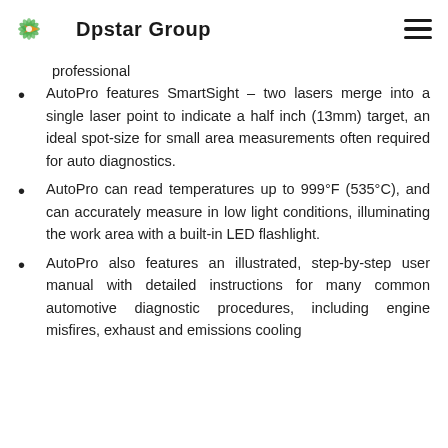Dpstar Group
professional
AutoPro features SmartSight – two lasers merge into a single laser point to indicate a half inch (13mm) target, an ideal spot-size for small area measurements often required for auto diagnostics.
AutoPro can read temperatures up to 999°F (535°C), and can accurately measure in low light conditions, illuminating the work area with a built-in LED flashlight.
AutoPro also features an illustrated, step-by-step user manual with detailed instructions for many common automotive diagnostic procedures, including engine misfires, exhaust and emissions cooling